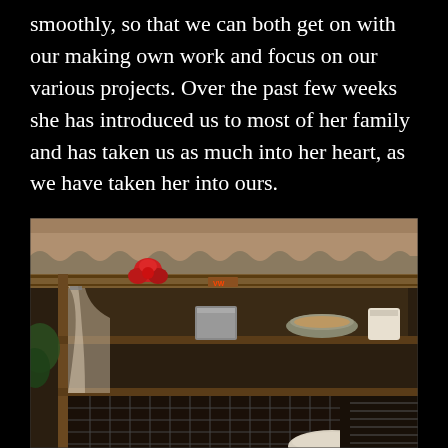smoothly, so that we can both get on with our making own work and focus on our various projects. Over the past few weeks she has introduced us to most of her family and has taken us as much into her heart, as we have taken her into ours.
[Figure (photo): Interior shot of a rustic wooden storage area or market stall with a corrugated roof. A red fabric flower/decoration is tied to a bamboo pole. Below are wooden shelves holding various metal and ceramic bowls, dishes, and containers. On the left side hang plastic bags. The lower section shows wire mesh fencing.]